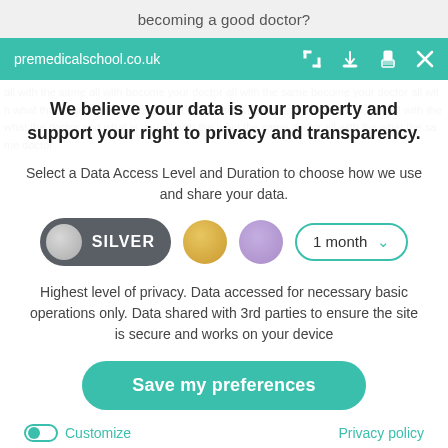becoming a good doctor?
premedicalschool.co.uk
We believe your data is your property and support your right to privacy and transparency.
Select a Data Access Level and Duration to choose how we use and share your data.
[Figure (infographic): Privacy level selector with SILVER pill button (dark grey with silver circle), gold circle, lavender circle, and a '1 month' dropdown with teal border and chevron]
Highest level of privacy. Data accessed for necessary basic operations only. Data shared with 3rd parties to ensure the site is secure and works on your device
Save my preferences
Customize
Privacy policy